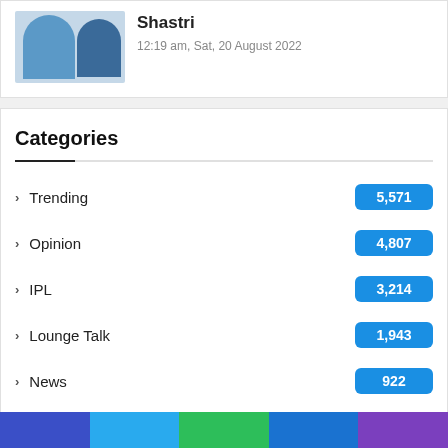[Figure (photo): Two men in blue outfits, one with a mustache in the foreground and another behind him]
Shastri
12:19 am, Sat, 20 August 2022
Categories
Trending 5,571
Opinion 4,807
IPL 3,214
Lounge Talk 1,943
News 922
Cricket 793
IND vs ENG 288
Fantasy Cricket Tips 247